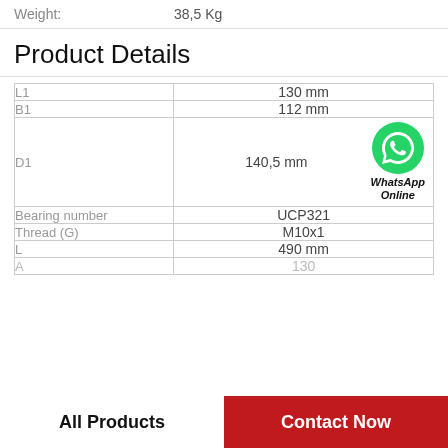Weight: 38,5 Kg
Product Details
| Parameter | Value |
| --- | --- |
| L1 | 130 mm |
| B1 | 112 mm |
| D1 | 140,5 mm |
| Bearing number | UCP321 |
| Thread (G) | M10x1 |
| L | 490 mm |
| A | 130 |
All Products
Contact Now